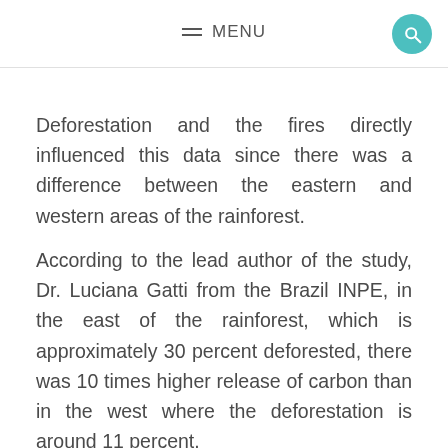≡ MENU
Deforestation and the fires directly influenced this data since there was a difference between the eastern and western areas of the rainforest.
According to the lead author of the study, Dr. Luciana Gatti from the Brazil INPE, in the east of the rainforest, which is approximately 30 percent deforested, there was 10 times higher release of carbon than in the west where the deforestation is around 11 percent.